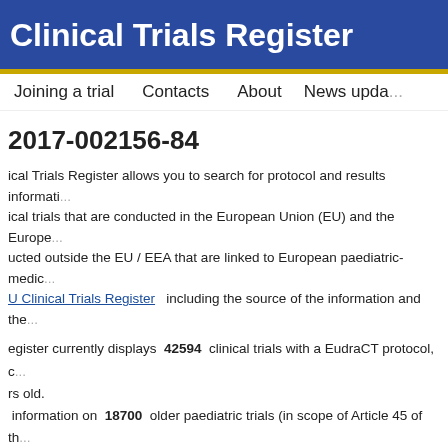Clinical Trials Register
Joining a trial   Contacts   About   News updates
2017-002156-84
Clinical Trials Register allows you to search for protocol and results information on clinical trials that are conducted in the European Union (EU) and the European Economic Area and conducted outside the EU / EEA that are linked to European paediatric-medicine development. The EU Clinical Trials Register including the source of the information and the ...
The register currently displays 42594 clinical trials with a EudraCT protocol, of which ... years old. ...information on 18700 older paediatric trials (in scope of Article 45 of the ...
...solely in adults and that are not part of an agreed PIP are not public in the... Commission Guideline 2012/C 302/03, Art. 5) .
"Trial now transitioned" were transitioned to the Clinical Trial Regulation 5...